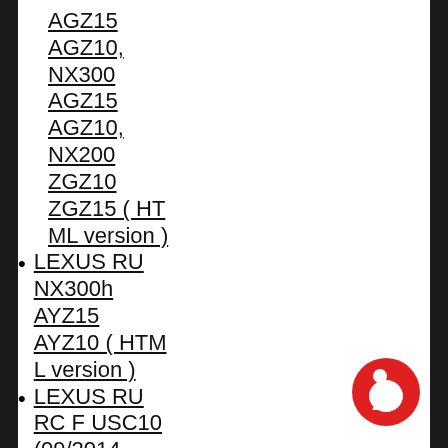AGZ15
AGZ10, NX300
AGZ15
AGZ10, NX200
ZGZ10
ZGZ15 ( HTML version )
LEXUS RU NX300h AYZ15 AYZ10 ( HTML version )
LEXUS RU RC F USC10 (09/2014--